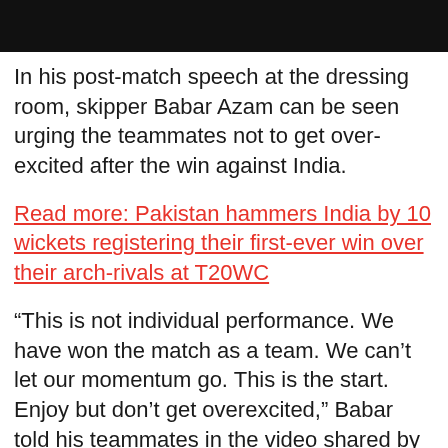[Figure (photo): Black bar at top of page, likely covering an image or header]
In his post-match speech at the dressing room, skipper Babar Azam can be seen urging the teammates not to get over-excited after the win against India.
Read more: Pakistan hammers India by 10 wickets registering their first-ever win over their arch-rivals at T20WC
“This is not individual performance. We have won the match as a team. We can’t let our momentum go. This is the start. Enjoy but don’t get overexcited,” Babar told his teammates in the video shared by Pakistan Cricket Board (PCB).